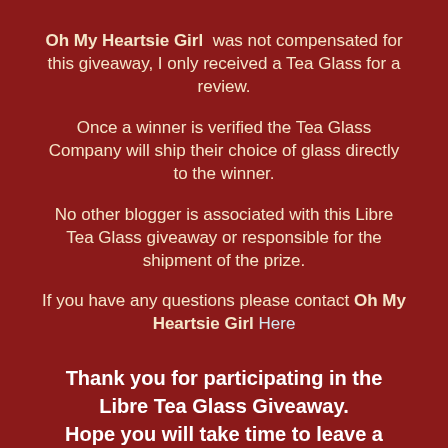Oh My Heartsie Girl was not compensated for this giveaway, I only received a Tea Glass for a review.
Once a winner is verified the Tea Glass Company will ship their choice of glass directly to the winner.
No other blogger is associated with this Libre Tea Glass giveaway or responsible for the shipment of the prize.
If you have any questions please contact Oh My Heartsie Girl Here
Thank you for participating in the Libre Tea Glass Giveaway. Hope you will take time to leave a comment below!